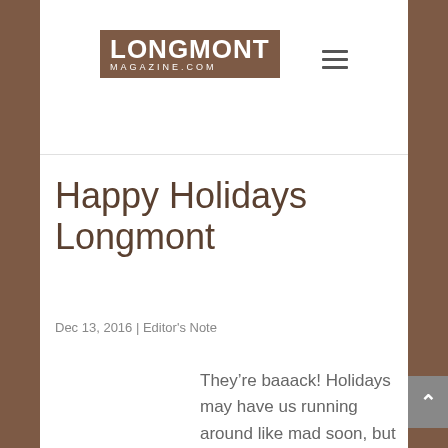LONGMONT MAGAZINE.COM
Happy Holidays Longmont
Dec 13, 2016 | Editor's Note
They’re baaack! Holidays may have us running around like mad soon, but may I suggest setting aside a moment to enjoy the fun of them? Longmont has holiday entertainment